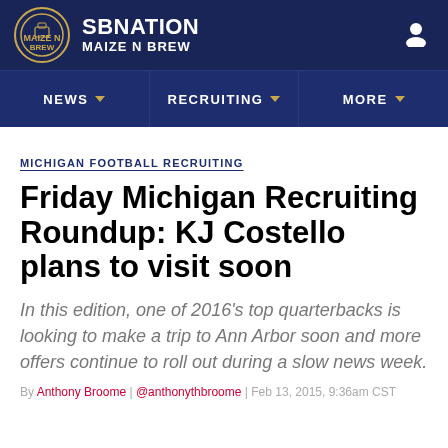SBNATION MAIZE N BREW
NEWS | RECRUITING | MORE
MICHIGAN FOOTBALL RECRUITING
Friday Michigan Recruiting Roundup: KJ Costello plans to visit soon
In this edition, one of 2016's top quarterbacks is looking to make a trip to Ann Arbor soon and more offers continue to roll out during a slow news week.
By Anthony Broome | @anthonythbroome | Feb 13, 2015, 9:36am CST